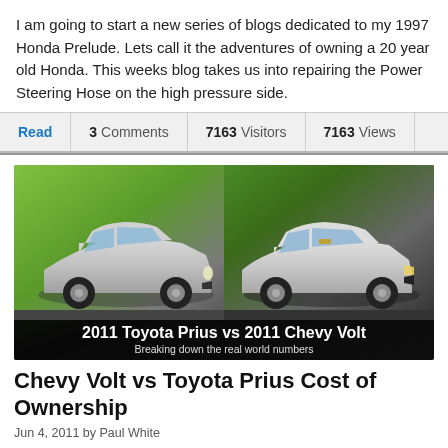I am going to start a new series of blogs dedicated to my 1997 Honda Prelude.  Lets call it the adventures of owning a 20 year old Honda.  This weeks blog takes us into repairing the Power Steering Hose on the high pressure side.
Read  3 Comments  7163 Visitors  7163 Views
[Figure (photo): Side-by-side image of a silver Toyota Prius (left) and a silver Chevy Volt (right) on green/dark background, with overlay text '2011 Toyota Prius vs 2011 Chevy Volt - Breaking down the real world numbers']
Chevy Volt vs Toyota Prius Cost of Ownership
Jun 4, 2011 by Paul White